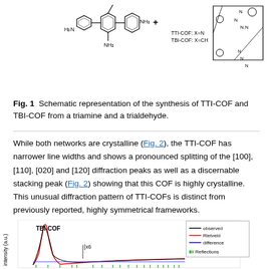[Figure (schematic): Chemical structure diagrams showing synthesis of TTI-COF and TBI-COF from a triamine (H2N-benzene-NH2 connected through a triphenylbenzene core) and a trialdehyde. Labels: TTI-COF: X=N, TBI-COF: X=CH. Product structure shown on right.]
Fig. 1 Schematic representation of the synthesis of TTI-COF and TBI-COF from a triamine and a trialdehyde.
While both networks are crystalline (Fig. 2), the TTI-COF has narrower line widths and shows a pronounced splitting of the [100], [110], [020] and [120] diffraction peaks as well as a discernable stacking peak (Fig. 2) showing that this COF is highly crystalline. This unusual diffraction pattern of TTI-COFs is distinct from previously reported, highly symmetrical frameworks.
[Figure (continuous-plot): Rietveld fit chart showing TBI-COF diffraction data. Y-axis: intensity (a.u.). Lines shown: observed (black), Rietveld (red), difference (blue), Reflections (green tick marks). TBI-COF label and x6 annotation visible. Bottom portion shows TTI-COF data beginning.]